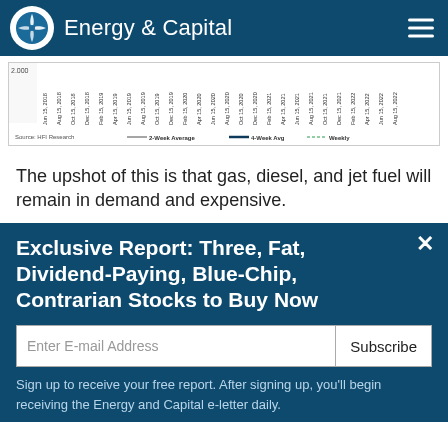Energy & Capital
[Figure (continuous-plot): Time series chart showing 2-Week Average, 4-Week Average, and Weekly data from Jun 15, 2018 to Aug 15, 2022. Source: HFI Research. Legend shows 2-Week Average (thin line), 4-Week Avg (thick dark line), Weekly (dashed green line).]
The upshot of this is that gas, diesel, and jet fuel will remain in demand and expensive.
Exclusive Report: Three, Fat, Dividend-Paying, Blue-Chip, Contrarian Stocks to Buy Now
Sign up to receive your free report. After signing up, you'll begin receiving the Energy and Capital e-letter daily.